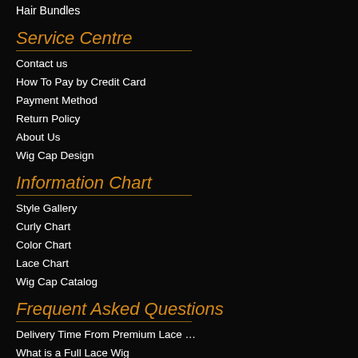Hair Bundles
Service Centre
Contact us
How To Pay by Credit Card
Payment Method
Return Policy
About Us
Wig Cap Design
Information Chart
Style Gallery
Curly Chart
Color Chart
Lace Chart
Wig Cap Catalog
Frequent Asked Questions
Delivery Time From Premium Lace …
What is a Full Lace Wig